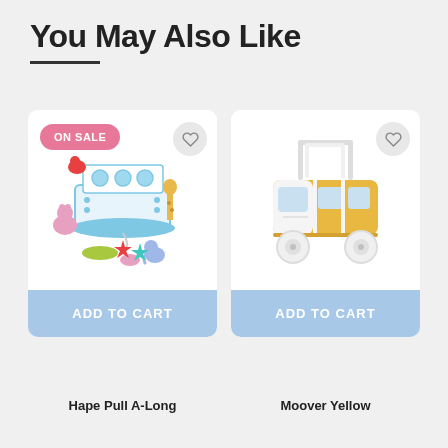You May Also Like
[Figure (photo): Noah's Ark wooden pull-along toy with colorful animal figurines, shown with ON SALE badge]
ADD TO CART
[Figure (photo): Moover Yellow wooden baby walker shaped like a bus/vehicle with wheels]
ADD TO CART
Hape Pull A-Long
Moover Yellow